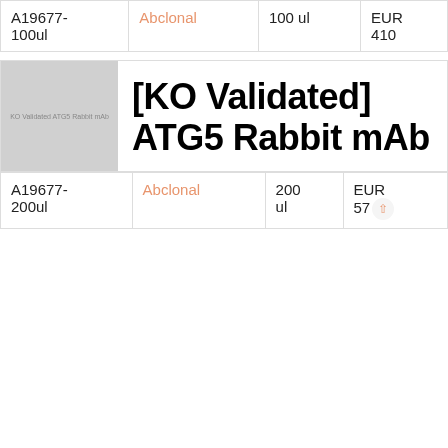| A19677-
100ul | Abclonal | 100 ul | EUR
410 |
[Figure (photo): Product thumbnail image placeholder for KO Validated ATG5 Rabbit mAb]
[KO Validated] ATG5 Rabbit mAb
| A19677-
200ul | Abclonal | 200 ul | EUR
577 |